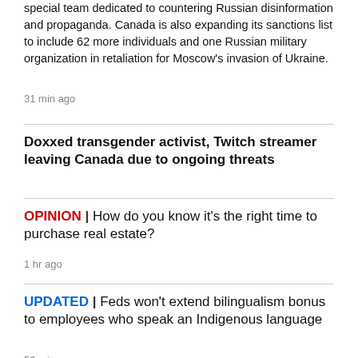special team dedicated to countering Russian disinformation and propaganda. Canada is also expanding its sanctions list to include 62 more individuals and one Russian military organization in retaliation for Moscow's invasion of Ukraine.
31 min ago
Doxxed transgender activist, Twitch streamer leaving Canada due to ongoing threats
OPINION | How do you know it's the right time to purchase real estate?
1 hr ago
UPDATED | Feds won't extend bilingualism bonus to employees who speak an Indigenous language
59 min ago